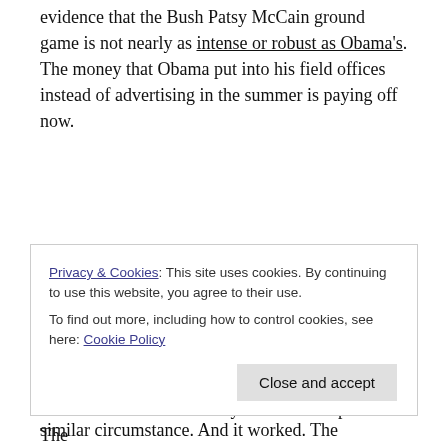evidence that the Bush Patsy McCain ground game is not nearly as intense or robust as Obama's. The money that Obama put into his field offices instead of advertising in the summer is paying off now.
Predictably, Bush Patsy McCain is going pure negative. HRC “threw the kitchen sink” in a similar circumstance. And it worked. The confounding factors were that Obama needed the HRC voters so
Privacy & Cookies: This site uses cookies. By continuing to use this website, you agree to their use.
To find out more, including how to control cookies, see here: Cookie Policy
formidable than Bush Patsy McCain/Nilap are. The